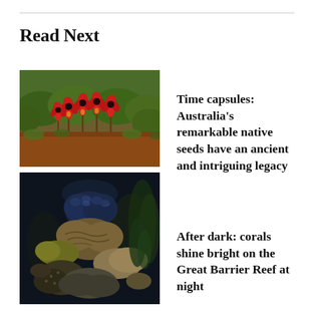Read Next
[Figure (photo): Red native Australian Sturt's desert pea flowers with black centres growing from red earth with green foliage background]
Time capsules: Australia's remarkable native seeds have an ancient and intriguing legacy
[Figure (photo): Underwater photograph of colourful corals on the Great Barrier Reef at night, showing various species in dark water with blue and brown hues]
After dark: corals shine bright on the Great Barrier Reef at night